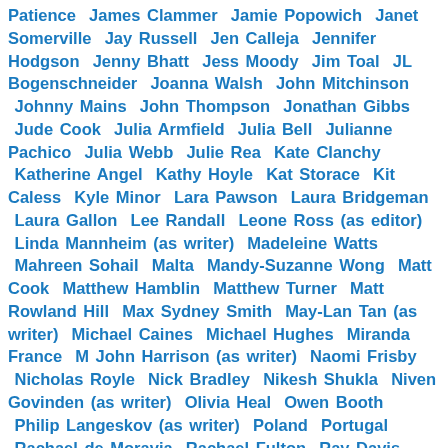Patience  James Clammer  Jamie Popowich  Janet Somerville  Jay Russell  Jen Calleja  Jennifer Hodgson  Jenny Bhatt  Jess Moody  Jim Toal  JL Bogenschneider  Joanna Walsh  John Mitchinson  Johnny Mains  John Thompson  Jonathan Gibbs  Jude Cook  Julia Armfield  Julia Bell  Julianne Pachico  Julia Webb  Julie Rea  Kate Clanchy  Katherine Angel  Kathy Hoyle  Kat Storace  Kit Caless  Kyle Minor  Lara Pawson  Laura Bridgeman  Laura Gallon  Lee Randall  Leone Ross (as editor)  Linda Mannheim (as writer)  Madeleine Watts  Mahreen Sohail  Malta  Mandy-Suzanne Wong  Matt Cook  Matthew Hamblin  Matthew Turner  Matt Rowland Hill  Max Sydney Smith  May-Lan Tan (as writer)  Michael Caines  Michael Hughes  Miranda France  M John Harrison (as writer)  Naomi Frisby  Nicholas Royle  Nick Bradley  Nikesh Shukla  Niven Govinden (as writer)  Olivia Heal  Owen Booth  Philip Langeskov (as writer)  Poland  Portugal  Rachael de Moravia  Rachael Fulton  Ray Davis  Reshma Ruia  Richard de Nooy  Richard Skinner  Richard Smyth  Rob Kiely  Roland Bates  Rowena Macdonald  Ruby Cowling  Rónán Hession  Sam Jordison  Sam Mills  Sammy Wright  Sam Reese  Sarah Byrne  Sarah Crown  Sarah Ladipo Manyika  Sarah Salway  Sharanya  Sharlene Teo  Sharni Wilson  Sibyl Ruth  Siddharth Soni  Simon Okotie  Sonya Moor  Sophie Haydock  Spain  Stephen Volk  Steve Finbow  Stuart Evers (as editor)  Stu Hennigan  Summer